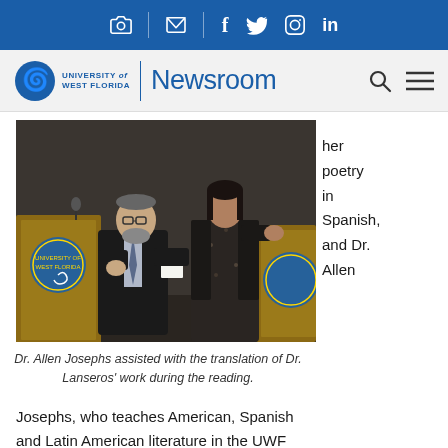University of West Florida | Newsroom [social icons: camera, email, facebook, twitter, instagram, linkedin]
[Figure (photo): Two people on a stage at a podium with University of West Florida seals. An older man in a suit holding papers stands next to a woman in a patterned dress.]
Dr. Allen Josephs assisted with the translation of Dr. Lanseros' work during the reading.
her poetry in Spanish, and Dr. Allen
Josephs, who teaches American, Spanish and Latin American literature in the UWF English department, read the English translation, often stopping for applause in the middle of a